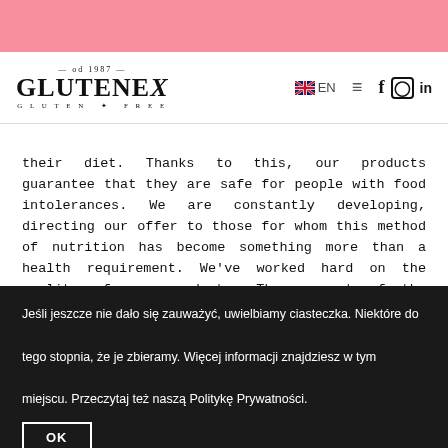[Figure (logo): Glutenex logo with 'od 1987' text and 'GLUTEN FREE' tagline]
their diet. Thanks to this, our products guarantee that they are safe for people with food intolerances. We are constantly developing, directing our offer to those for whom this method of nutrition has become something more than a health requirement. We've worked hard on the quality of our products. The support of the Polish Association of People with Celiac Disease and on a Gluten Free Diet is the best confirmation of this.
We are glad that we are appreciated by
Jeśli jeszcze nie dało się zauważyć, uwielbiamy ciasteczka. Niektóre do tego stopnia, że je zbieramy. Więcej informacji znajdziesz w tym miejscu. Przeczytaj też naszą Politykę Prywatności.
OK